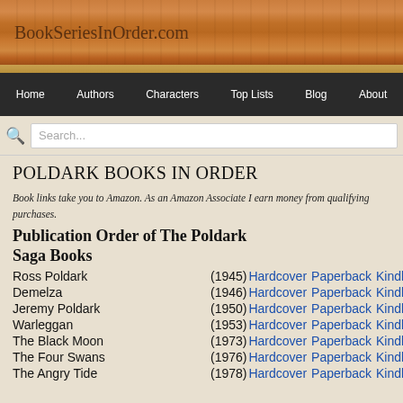BookSeriesInOrder.com
Home | Authors | Characters | Top Lists | Blog | About
POLDARK BOOKS IN ORDER
Book links take you to Amazon. As an Amazon Associate I earn money from qualifying purchases.
Publication Order of The Poldark Saga Books
| Title | Year | Hardcover | Paperback | Kindle |
| --- | --- | --- | --- | --- |
| Ross Poldark | (1945) | Hardcover | Paperback | Kindle |
| Demelza | (1946) | Hardcover | Paperback | Kindle |
| Jeremy Poldark | (1950) | Hardcover | Paperback | Kindle |
| Warleggan | (1953) | Hardcover | Paperback | Kindle |
| The Black Moon | (1973) | Hardcover | Paperback | Kindle |
| The Four Swans | (1976) | Hardcover | Paperback | Kindle |
| The Angry Tide | (1978) | Hardcover | Paperback | Kindle |